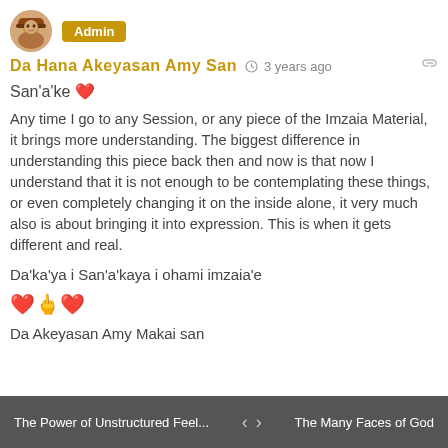[Figure (photo): Small circular avatar photo of a person with a hat, brown/orange tones]
Admin
Da Hana Akeyasan Amy San  3 years ago
San’a’ke ❤
Any time I go to any Session, or any piece of the Imzaia Material, it brings more understanding. The biggest difference in understanding this piece back then and now is that now I understand that it is not enough to be contemplating these things, or even completely changing it on the inside alone, it very much also is about bringing it into expression. This is when it gets different and real.
Da’ka’ya i San’a’kaya i ohami imzaia’e
❤🖕❤
Da Akeyasan Amy Makai san
The Power of Unstructured Feel...  <  >  The Many Faces of God